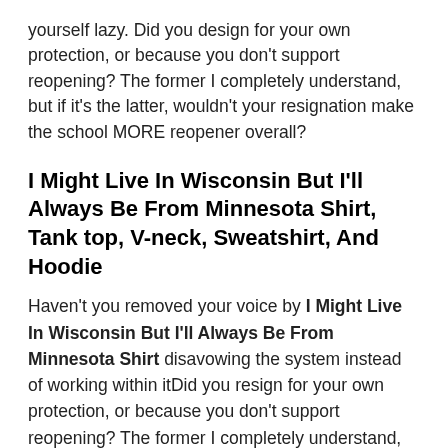yourself lazy. Did you design for your own protection, or because you don't support reopening? The former I completely understand, but if it's the latter, wouldn't your resignation make the school MORE reopener overall?
I Might Live In Wisconsin But I'll Always Be From Minnesota Shirt, Tank top, V-neck, Sweatshirt, And Hoodie
Haven't you removed your voice by I Might Live In Wisconsin But I'll Always Be From Minnesota Shirt disavowing the system instead of working within itDid you resign for your own protection, or because you don't support reopening? The former I completely understand, but if it's the latter, wouldn't your resignation make the school MORE reopener overall? Haven't you removed your voice by disavowing the system instead of working within it please report back with the results of car deaths in children vs? COVID deaths in children. Thanks. We